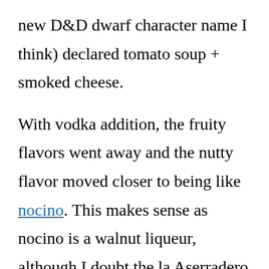new D&D dwarf character name I think) declared tomato soup + smoked cheese.
With vodka addition, the fruity flavors went away and the nutty flavor moved closer to being like nocino. This makes sense as nocino is a walnut liqueur, although I doubt the la Aserradero will stain skin and clothes in a furniture polish manner like nocino does.
So, further experimentation is in order on both counts.